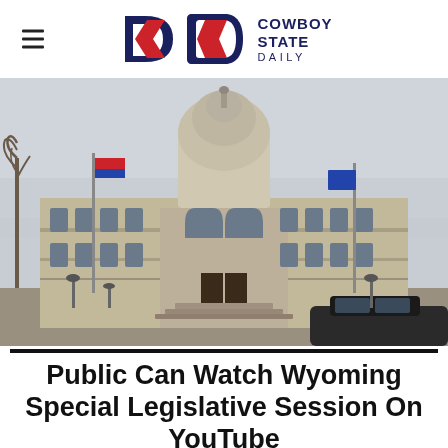Cowboy State Daily
[Figure (photo): Exterior photograph of the Wyoming State Capitol building with dome, flags on both sides, bare winter trees, overcast sky, and a dark vehicle visible at lower right.]
Public Can Watch Wyoming Special Legislative Session On YouTube